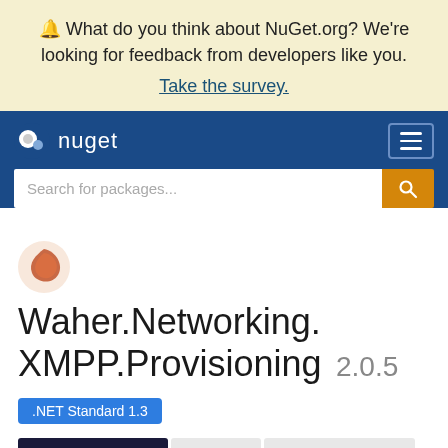🔔 What do you think about NuGet.org? We're looking for feedback from developers like you. Take the survey.
[Figure (logo): NuGet logo with icon and text 'nuget' on dark blue navigation bar with hamburger menu and search box]
Waher.Networking.XMPP.Provisioning 2.0.5
.NET Standard 1.3
Package Manager | .NET CLI | PackageReference